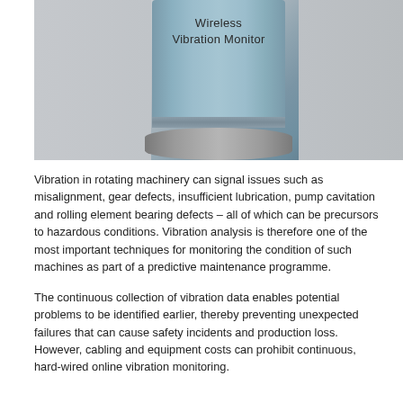[Figure (photo): A cylindrical wireless vibration monitor device. It has a blue-grey cylindrical body with the text 'Wireless Vibration Monitor' printed on it, a metallic band near the base, and a silver/metallic rounded base. The background is a light grey gradient.]
Vibration in rotating machinery can signal issues such as misalignment, gear defects, insufficient lubrication, pump cavitation and rolling element bearing defects – all of which can be precursors to hazardous conditions. Vibration analysis is therefore one of the most important techniques for monitoring the condition of such machines as part of a predictive maintenance programme.
The continuous collection of vibration data enables potential problems to be identified earlier, thereby preventing unexpected failures that can cause safety incidents and production loss. However, cabling and equipment costs can prohibit continuous, hard-wired online vibration monitoring.